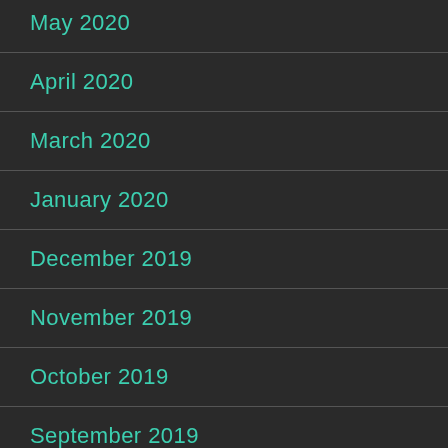May 2020
April 2020
March 2020
January 2020
December 2019
November 2019
October 2019
September 2019
August 2019